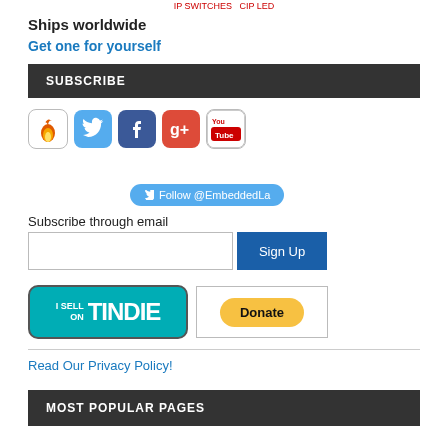IP SWITCHES   CIP LED
Ships worldwide
Get one for yourself
SUBSCRIBE
[Figure (other): Row of social media icons: Feedburner (fire), Twitter (bird), Facebook (f), Google Plus (g+), YouTube (You Tube logo)]
Follow @EmbeddedLa
Subscribe through email
[Figure (other): Email subscription input box and Sign Up button]
[Figure (other): I Sell on Tindie badge and PayPal Donate button]
Read Our Privacy Policy!
MOST POPULAR PAGES